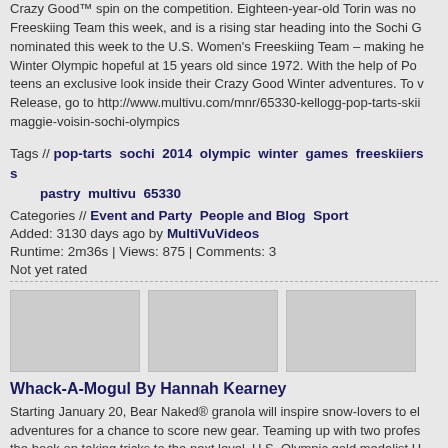Crazy Good™ spin on the competition. Eighteen-year-old Torin was nominated to the U.S. Women's Freeskiing Team this week, and is a rising star heading into the Sochi G... nominated this week to the U.S. Women's Freeskiing Team – making he... Winter Olympic hopeful at 15 years old since 1972. With the help of Pop-Tarts, teens an exclusive look inside their Crazy Good Winter adventures. To view the Release, go to http://www.multivu.com/mnr/65330-kellogg-pop-tarts-skii... maggie-voisin-sochi-olympics
Tags // pop-tarts sochi 2014 olympic winter games freeskiiers s... pastry multivu 65330
Categories // Event and Party  People and Blog  Sport
Added: 3130 days ago by MultiVuVideos
Runtime: 2m36s | Views: 875 | Comments: 3
Not yet rated
[Figure (photo): Three video thumbnail placeholders in a row]
Whack-A-Mogul By Hannah Kearney
Starting January 20, Bear Naked® granola will inspire snow-lovers to ele... adventures for a chance to score new gear. Teaming up with two profes... the book on taking tricks to the next level, U.S. Olympic gold medalist H... U.S. Winter Olympic hopeful Chas Guldemond, the granola brand will is... #OneUpIt challenges on Facebook, Twitter and Instagram, inviting fans ... experiences in hopes of landing some fresh swag. To view the Multimed... http://www.multivu.com/mnr/65132-us-athletes-bear-naked-granola-cha...
Tags // bear naked granola oneupit hannah kearney chas gulde... athletes photo video contest multivu 65132